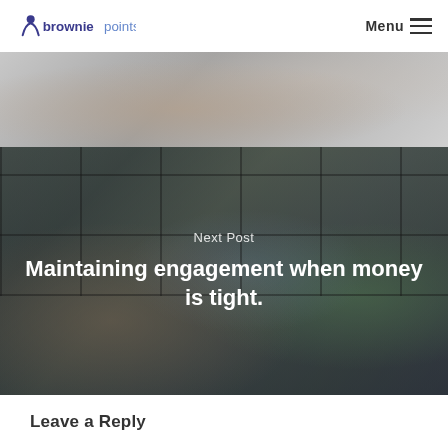browniepoints — Menu
[Figure (photo): Top strip photo showing a handshake or office scene, grayscale/muted tones]
[Figure (photo): Group of four people around a laptop in an office with shelving in background, overlaid with semi-transparent dark tint]
Next Post
Maintaining engagement when money is tight.
Leave a Reply